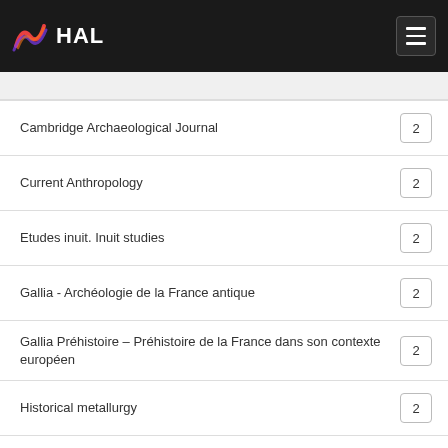HAL
Cambridge Archaeological Journal	2
Current Anthropology	2
Etudes inuit. Inuit studies	2
Gallia - Archéologie de la France antique	2
Gallia Préhistoire – Préhistoire de la France dans son contexte européen	2
Historical metallurgy	2
Journal of Austronesain Studies	2
Journal of Field Archaeology	2
Journal of Indo-Pacific Archaeology	2
L'Archéologue	2